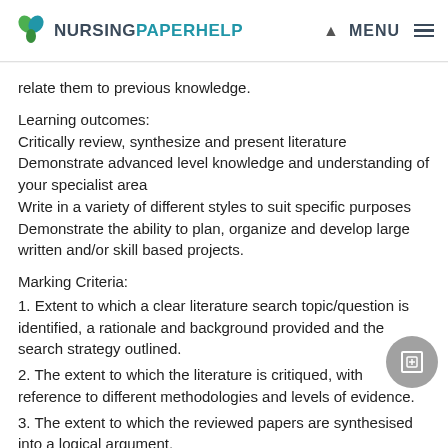NURSINGPAPERHELP  MENU
relate them to previous knowledge.
Learning outcomes:
Critically review, synthesize and present literature
Demonstrate advanced level knowledge and understanding of your specialist area
Write in a variety of different styles to suit specific purposes
Demonstrate the ability to plan, organize and develop large written and/or skill based projects.
Marking Criteria:
1. Extent to which a clear literature search topic/question is identified, a rationale and background provided and the search strategy outlined.
2. The extent to which the literature is critiqued, with reference to different methodologies and levels of evidence.
3. The extent to which the reviewed papers are synthesised into a logical argument.
4. The extent to which the assignment is presented in a